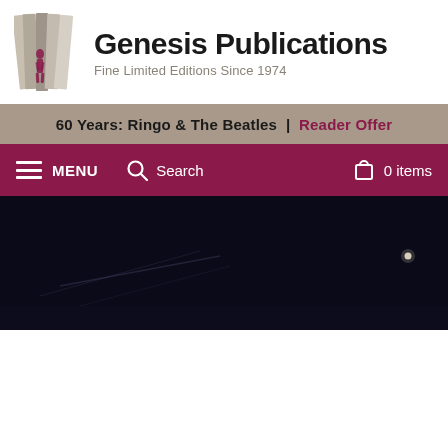[Figure (logo): Genesis Publications logo: stylized open book pages with a figure silhouette in taupe/grey tones]
Genesis Publications
Fine Limited Editions Since 1974
60 Years: Ringo & The Beatles  |  Reader Offer
MENU   Search   0 items
[Figure (photo): Dark nighttime scene, nearly black with some faint light streaks and a distant point of light]